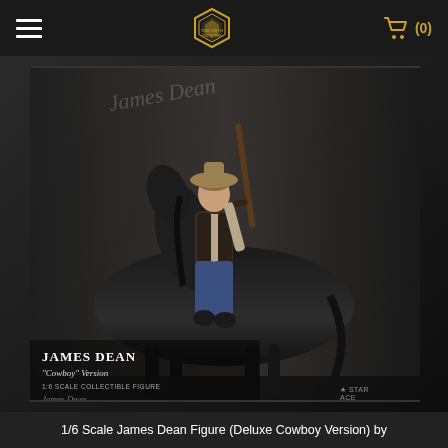One Sixth Outfitters — navigation header with hamburger menu, logo, and cart (0)
[Figure (photo): 1/6 scale James Dean Cowboy Version collectible figure seated on a black horse, holding a rifle, wearing jeans, vest and cowboy hat. Text on image: JAMES DEAN 'Cowboy' Version 1:6 SCALE COLLECTIBLE FIGURE. Star Ace logo visible bottom right.]
1/6 Scale James Dean Figure (Deluxe Cowboy Version) by